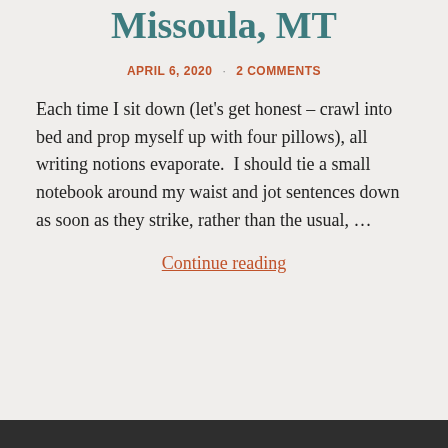Missoula, MT
APRIL 6, 2020 · 2 COMMENTS
Each time I sit down (let's get honest – crawl into bed and prop myself up with four pillows), all writing notions evaporate.  I should tie a small notebook around my waist and jot sentences down as soon as they strike, rather than the usual, …
Continue reading